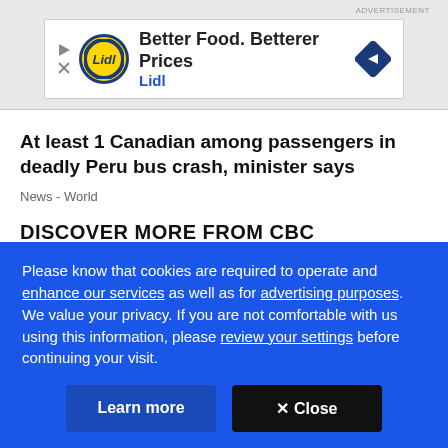ADVERTISEMENT
[Figure (illustration): Lidl advertisement banner: Better Food. Betterer Prices - Lidl, with Lidl logo and blue diamond arrow icon]
At least 1 Canadian among passengers in deadly Peru bus crash, minister says
News  -  World
DISCOVER MORE FROM CBC
[Figure (photo): Two image thumbnails side by side, partially visible, part of a content discovery section]
Please know that cookies are required to operate and enhance our services as well as for advertising purposes. We value your privacy. If you are not comfortable with us using this information, please review your settings before continuing your visit.